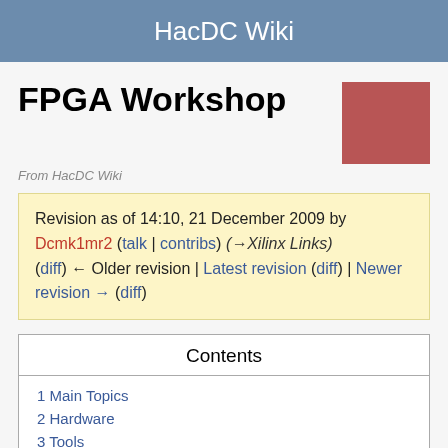HacDC Wiki
FPGA Workshop
From HacDC Wiki
Revision as of 14:10, 21 December 2009 by Dcmk1mr2 (talk | contribs) (→Xilinx Links)
(diff) ← Older revision | Latest revision (diff) | Newer revision → (diff)
| Contents |
| --- |
| 1 Main Topics |
| 2 Hardware |
| 3 Tools |
| 3.1 Verilog Simulation and Waveform Viewing |